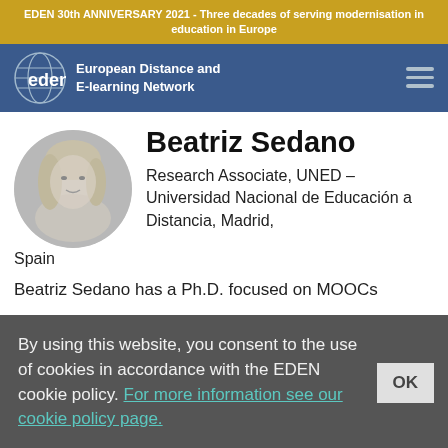EDEN 30th ANNIVERSARY 2021 - Three decades of serving modernisation in education in Europe
[Figure (logo): EDEN European Distance and E-learning Network logo with globe icon on blue navigation bar]
Beatriz Sedano
Research Associate, UNED – Universidad Nacional de Educación a Distancia, Madrid, Spain
[Figure (photo): Black and white circular portrait photo of Beatriz Sedano]
Beatriz Sedano has a Ph.D. focused on MOOCs
By using this website, you consent to the use of cookies in accordance with the EDEN cookie policy. For more information see our cookie policy page.